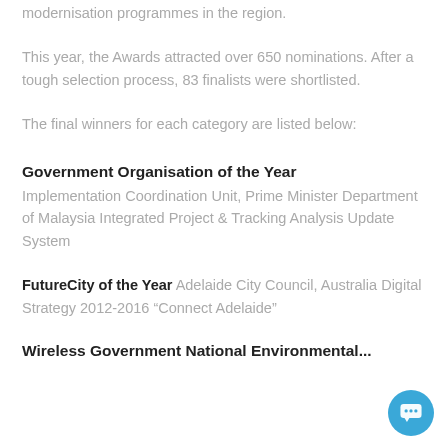modernisation programmes in the region.
This year, the Awards attracted over 650 nominations. After a tough selection process, 83 finalists were shortlisted.
The final winners for each category are listed below:
Government Organisation of the Year
Implementation Coordination Unit, Prime Minister Department of Malaysia Integrated Project & Tracking Analysis Update System
FutureCity of the Year Adelaide City Council, Australia Digital Strategy 2012-2016 “Connect Adelaide”
Wireless Government National Environmental...